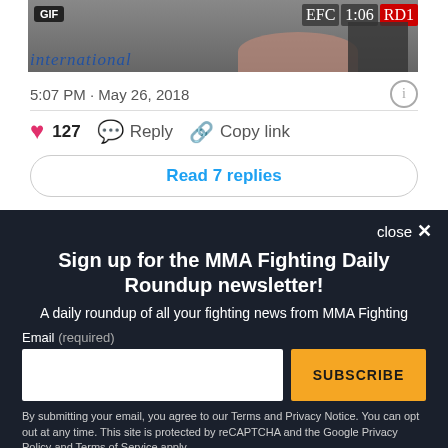[Figure (screenshot): Screenshot of a social media post showing a GIF badge on an image with 'EFC', '1:06', 'RD1' pills, and feet/legs on a mat. The word 'international' appears in blue italic text at the bottom of the image.]
5:07 PM · May 26, 2018
127   Reply   Copy link
Read 7 replies
close ×
Sign up for the MMA Fighting Daily Roundup newsletter!
A daily roundup of all your fighting news from MMA Fighting
Email (required)
SUBSCRIBE
By submitting your email, you agree to our Terms and Privacy Notice. You can opt out at any time. This site is protected by reCAPTCHA and the Google Privacy Policy and Terms of Service apply.